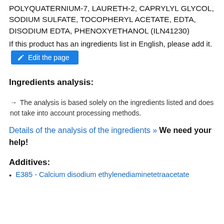POLYQUATERNIUM-7, LAURETH-2, CAPRYLYL GLYCOL, SODIUM SULFATE, TOCOPHERYL ACETATE, EDTA, DISODIUM EDTA, PHENOXYETHANOL (ILN41230)
If this product has an ingredients list in English, please add it.
Ingredients analysis:
→ The analysis is based solely on the ingredients listed and does not take into account processing methods.
Details of the analysis of the ingredients » We need your help!
Additives:
E385 - Calcium disodium ethylenediaminetetraacetate